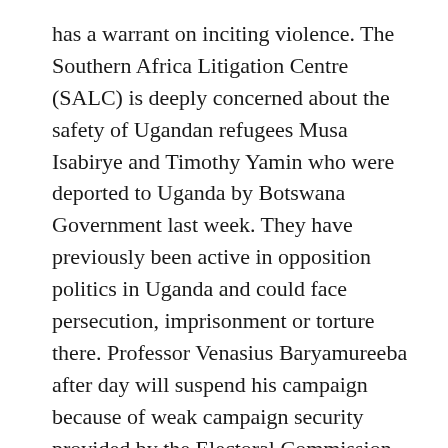has a warrant on inciting violence. The Southern Africa Litigation Centre (SALC) is deeply concerned about the safety of Ugandan refugees Musa Isabirye and Timothy Yamin who were deported to Uganda by Botswana Government last week. They have previously been active in opposition politics in Uganda and could face persecution, imprisonment or torture there. Professor Venasius Baryamureeba after day will suspend his campaign because of weak campaign security provided by the Electoral Commission and the Government.
10th November the Police gave the public some words on the their tear-gas: “The Deputy